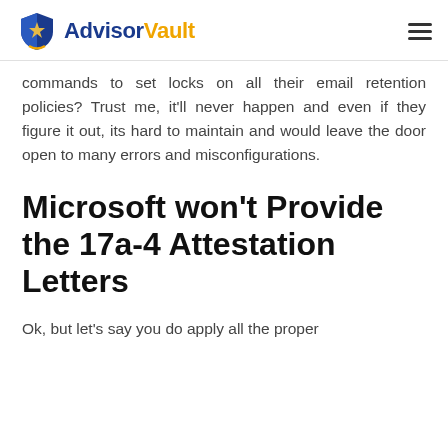AdvisorVault
commands to set locks on all their email retention policies? Trust me, it'll never happen and even if they figure it out, its hard to maintain and would leave the door open to many errors and misconfigurations.
Microsoft won't Provide the 17a-4 Attestation Letters
Ok, but let's say you do apply all the proper